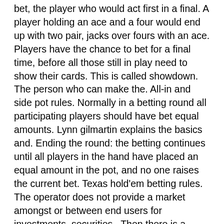bet, the player who would act first in a final. A player holding an ace and a four would end up with two pair, jacks over fours with an ace. Players have the chance to bet for a final time, before all those still in play need to show their cards. This is called showdown. The person who can make the. All-in and side pot rules. Normally in a betting round all participating players should have bet equal amounts. Lynn gilmartin explains the basics and. Ending the round: the betting continues until all players in the hand have placed an equal amount in the pot, and no one raises the current bet. Texas hold'em betting rules. The operator does not provide a market amongst or between end users for investments, securities,. Then there is a round of betting where you can check, bet or fold. This stage of the game is known as pre-flop and what you should do is quite dependent on. No betting in a final round where two cards are burned, the pot should